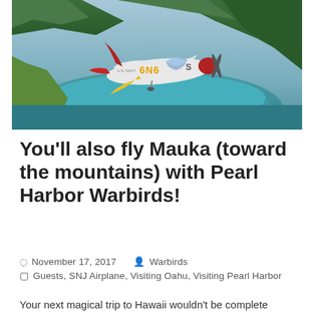[Figure (photo): Aerial photograph of a vintage WWII-era SNJ/T-6 Texan warbird airplane with red tail, white fuselage marked '6N6', and yellow wings flying over a Hawaiian bay surrounded by lush green mountains. The airplane bears U.S. Navy markings.]
You'll also fly Mauka (toward the mountains) with Pearl Harbor Warbirds!
November 17, 2017   Warbirds
Guests, SNJ Airplane, Visiting Oahu, Visiting Pearl Harbor
Your next magical trip to Hawaii wouldn't be complete